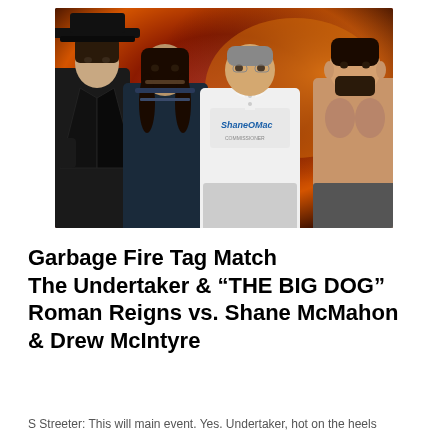[Figure (photo): Promotional photo of four WWE wrestlers: The Undertaker (left, in black hat and coat), Roman Reigns (second from left, in tactical gear), Shane McMahon (center, in white ShaneOMac jersey), and Drew McIntyre (right, shirtless with beard), posed against a dark red and orange dramatic background.]
Garbage Fire Tag Match The Undertaker & “THE BIG DOG” Roman Reigns vs. Shane McMahon & Drew McIntyre
S Streeter: This will main event. Yes. Undertaker, hot on the heels